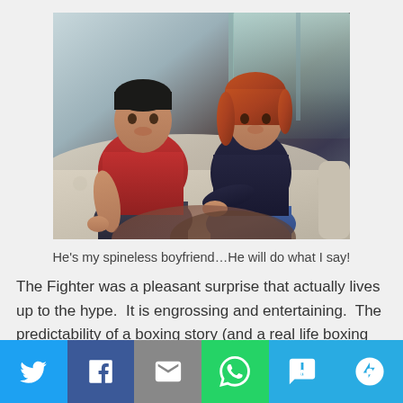[Figure (photo): Two people (a man in a red shirt and a woman with auburn hair in a dark top) sitting on a floral couch]
He's my spineless boyfriend…He will do what I say!
The Fighter was a pleasant surprise that actually lives up to the hype.  It is engrossing and entertaining.  The predictability of a boxing story (and a real life boxing story at that) is overridden by good acting and great
[Figure (infographic): Social media share bar with Twitter, Facebook, Email, WhatsApp, SMS, and More buttons]